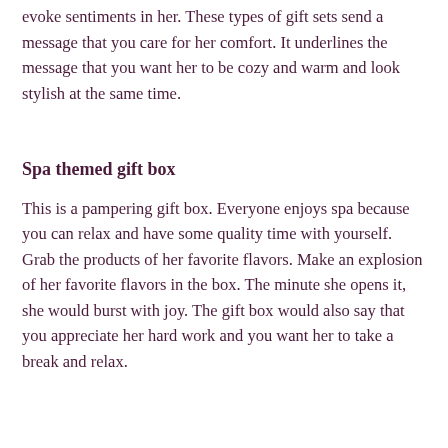evoke sentiments in her. These types of gift sets send a message that you care for her comfort. It underlines the message that you want her to be cozy and warm and look stylish at the same time.
Spa themed gift box
This is a pampering gift box. Everyone enjoys spa because you can relax and have some quality time with yourself. Grab the products of her favorite flavors. Make an explosion of her favorite flavors in the box. The minute she opens it, she would burst with joy. The gift box would also say that you appreciate her hard work and you want her to take a break and relax.